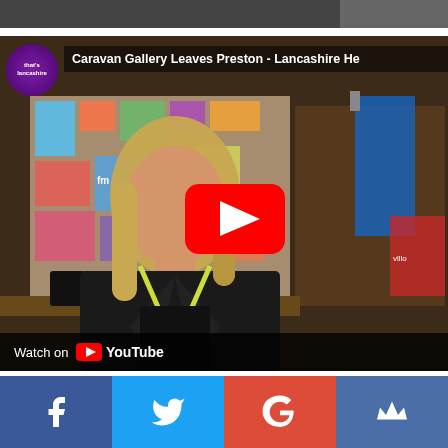[Figure (photo): Top cropped photo strip, partial image visible at top of page]
[Figure (screenshot): YouTube video embed: 'Caravan Gallery Leaves Preston - Lancashire He...' thumbnail showing a woman with blonde hair wearing a yellow lanyard and black leather jacket in front of a bulletin board, with a YouTube play button overlay and 'Watch on YouTube' bar at bottom. Channel logo 'that's Lancashire' in top left.]
[Figure (other): Social media sharing buttons bar: Facebook (blue), Twitter (light blue), Google+ (red), and a fourth button (dark blue with crown icon)]